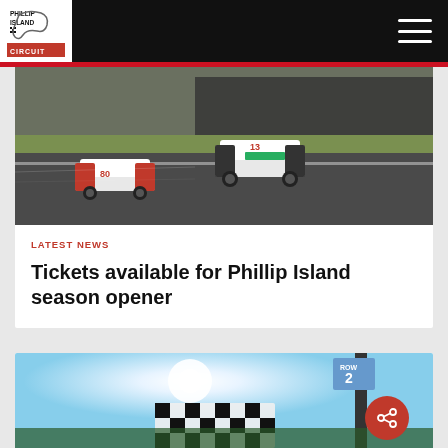Phillip Island Circuit
[Figure (photo): Two racing cars on a circuit track, one with Shell branding (#80), another white car (#13) alongside on grey asphalt with green grass and barrier walls in background]
LATEST NEWS
Tickets available for Phillip Island season opener
[Figure (photo): Partial view of a chequered flag being waved against a bright sky with sun, with a 'ROW 2' sign visible in the upper right corner]